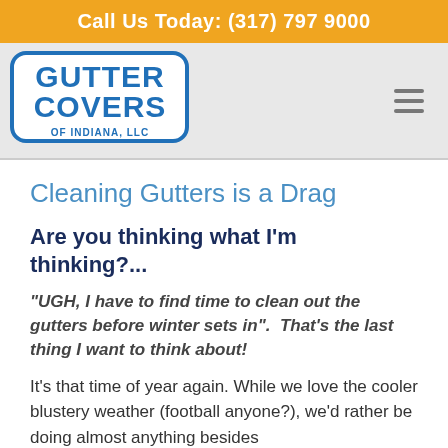Call Us Today: (317) 797 9000
[Figure (logo): Gutter Covers of Indiana, LLC logo — blue bold text with white outline on white background]
Cleaning Gutters is a Drag
Are you thinking what I'm thinking?...
“UGH, I have to find time to clean out the gutters before winter sets in”.  That’s the last thing I want to think about!
It’s that time of year again. While we love the cooler blustery weather (football anyone?), we’d rather be doing almost anything besides